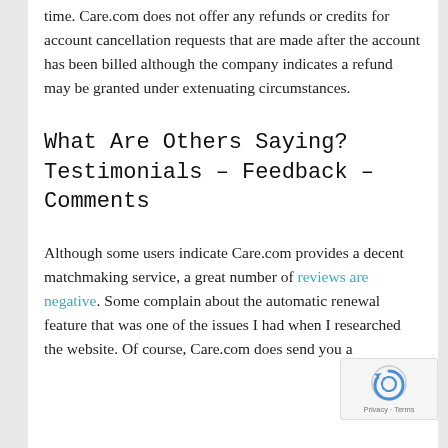time. Care.com does not offer any refunds or credits for account cancellation requests that are made after the account has been billed although the company indicates a refund may be granted under extenuating circumstances.
What Are Others Saying? Testimonials – Feedback – Comments
Although some users indicate Care.com provides a decent matchmaking service, a great number of reviews are negative. Some complain about the automatic renewal feature that was one of the issues I had when I researched the website. Of course, Care.com does send you a